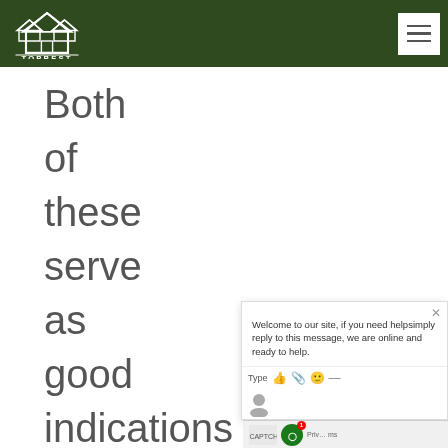TOPBEST
Both of these serve as good indications of ant presence in or around the area.